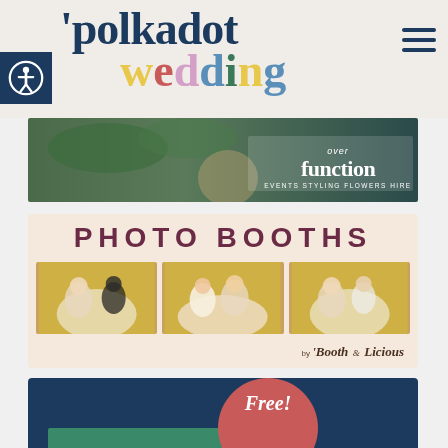[Figure (logo): Polka Dot Wedding website header logo with colorful lettering on light beige background, with accessibility icon button on left and hamburger menu on right]
[Figure (photo): Over Function Events Styling Flowers Hire banner advertisement showing wedding floral decorations]
[Figure (photo): Photo Booths advertisement by Booth-a-Licious showing three photo booth pictures of couples and friends on pink background with text 'PHOTO BOOTHS']
[Figure (infographic): Navy blue banner with red circle showing 'Free!' text, partially cut off at bottom of page]